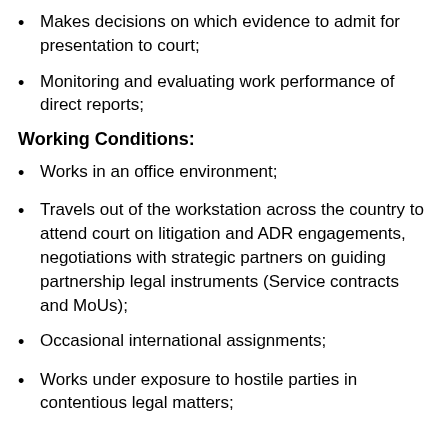Makes decisions on which evidence to admit for presentation to court;
Monitoring and evaluating work performance of direct reports;
Working Conditions:
Works in an office environment;
Travels out of the workstation across the country to attend court on litigation and ADR engagements, negotiations with strategic partners on guiding partnership legal instruments (Service contracts and MoUs);
Occasional international assignments;
Works under exposure to hostile parties in contentious legal matters;